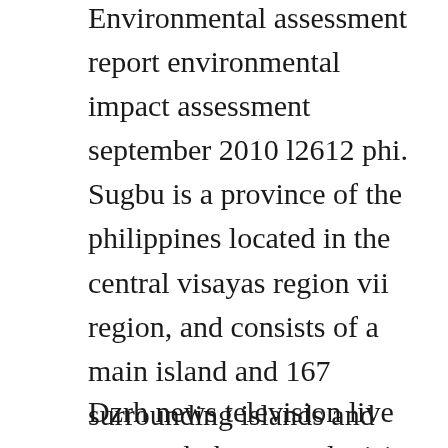Environmental assessment report environmental impact assessment september 2010 l2612 phi. Sugbu is a province of the philippines located in the central visayas region vii region, and consists of a main island and 167 surrounding islands and islets. Dec 14, 2019 minglanilla, cebu, philippines supports philippine cycling philippine cycling is about cycling in the philippnes. Manila bay reclamation projects manila metro manila scribd.
Dzrh news television live stream dzrh news television 1 651 watching. A prime location to